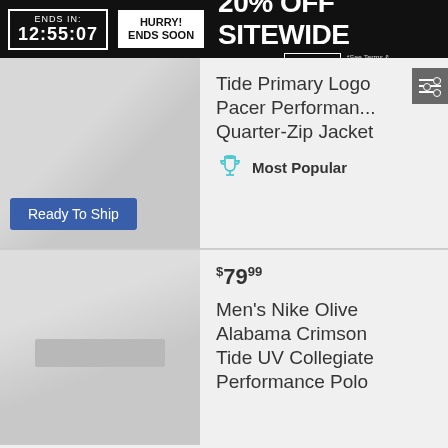ENDS IN: 12:55:07 | HURRY! ENDS SOON | 20% OFF SITEWIDE USE CODE: 20OFF *See Terms & Exclusions for details.
Tide Primary Logo Pacer Performance Quarter-Zip Jacket
Most Popular
Ready To Ship
$79.99
Men's Nike Olive Alabama Crimson Tide UV Collegiate Performance Polo